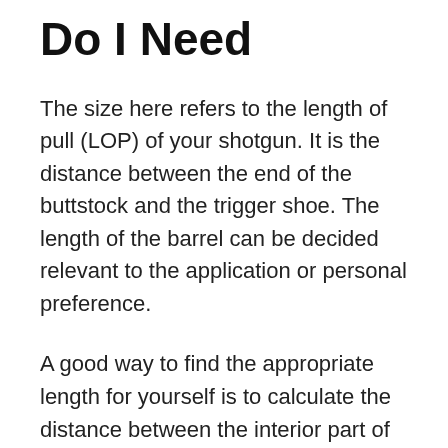Do I Need
The size here refers to the length of pull (LOP) of your shotgun. It is the distance between the end of the buttstock and the trigger shoe. The length of the barrel can be decided relevant to the application or personal preference.
A good way to find the appropriate length for yourself is to calculate the distance between the interior part of your elbow to the middle pad of your trigger finger. Do this while keeping your forearm at 90 degrees to your biceps.
Adding a recoil pad to the shotgun will make a small and negligible difference in length of pull. But when you don thick winter clothing, this